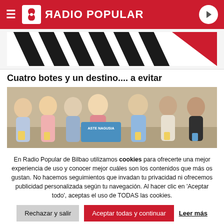RADIO POPULAR
[Figure (photo): Partial image showing diagonal black stripes on white/red background - top portion of an article image]
Cuatro botes y un destino.... a evitar
[Figure (photo): Group photo of seven people holding books/booklets, with a sign reading ASTE NAGUSIA, at what appears to be an indoor event]
En Radio Popular de Bilbao utilizamos cookies para ofrecerte una mejor experiencia de uso y conocer mejor cuáles son los contenidos que más os gustan. No hacemos seguimientos que invadan tu privacidad ni ofrecemos publicidad personalizada según tu navegación. Al hacer clic en 'Aceptar todo', aceptas el uso de TODAS las cookies.
Rechazar y salir | Aceptar todas y continuar | Leer más